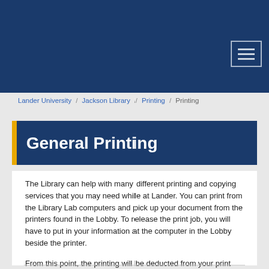[Figure (screenshot): Dark navy blue header bar with hamburger menu icon in upper right corner]
Lander University / Jackson Library / Printing / Printing
General Printing
The Library can help with many different printing and copying services that you may need while at Lander. You can print from the Library Lab computers and pick up your document from the printers found in the Lobby. To release the print job, you will have to put in your information at the computer in the Lobby beside the printer.
From this point, the printing will be deducted from your print allowance every semester. You can also print in various other locations across campus the same way.